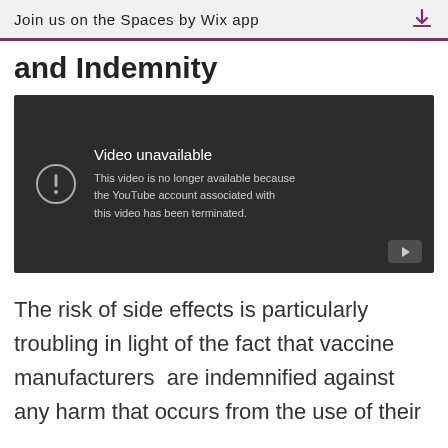Join us on the Spaces by Wix app
and Indemnity
[Figure (screenshot): Embedded video player showing error: 'Video unavailable. This video is no longer available because the YouTube account associated with this video has been terminated.']
The risk of side effects is particularly troubling in light of the fact that vaccine manufacturers  are indemnified against any harm that occurs from the use of their